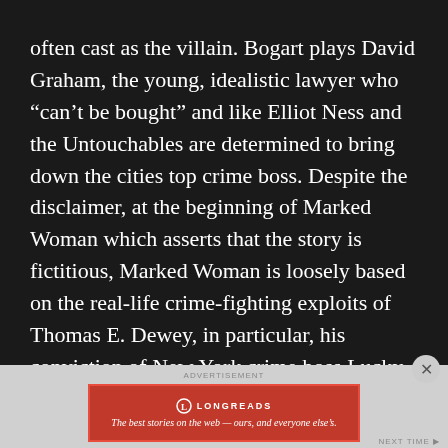often cast as the villain. Bogart plays David Graham, the young, idealistic lawyer who “can’t be bought” and like Elliot Ness and the Untouchables are determined to bring down the cities top crime boss. Despite the disclaimer, at the beginning of Marked Woman which asserts that the story is fictitious, Marked Woman is loosely based on the real-life crime-fighting exploits of Thomas E. Dewey, in particular, his conviction of New York crime boss Lucky Luciano (of whom Eduardo Ciannelli bears a resemblance to) via the testimony of numerous call girls in Luciano’s prostitution
[Figure (other): Longreads advertisement banner with red background, Longreads logo and tagline: The best stories on the web — ours, and everyone else's.]